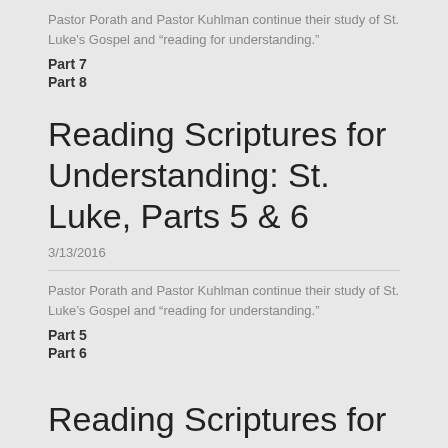Pastor Porath and Pastor Kuhlman continue their study of St. Luke's Gospel and “reading for understanding.”
Part 7
Part 8
Reading Scriptures for Understanding: St. Luke, Parts 5 & 6
3/13/2016
Pastor Porath and Pastor Kuhlman continue their study of St. Luke’s Gospel and “reading for understanding.”
Part 5
Part 6
Reading Scriptures for Understanding: St. Luke, Parts 3 & 4